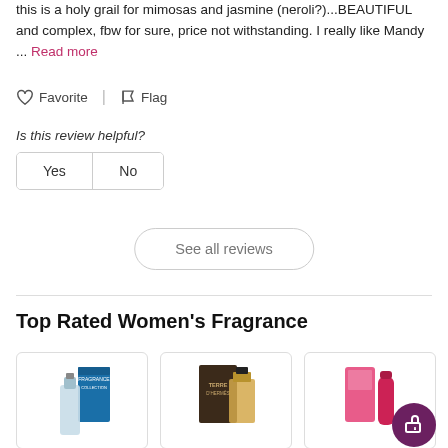this is a holy grail for mimosas and jasmine (neroli?)...BEAUTIFUL and complex, fbw for sure, price not withstanding. I really like Mandy ... Read more
Favorite | Flag
Is this review helpful?
Yes  No
See all reviews
Top Rated Women's Fragrance
[Figure (photo): Three fragrance product cards: a blue/silver bottle with box, a Terre d'Hermès dark brown box with amber bottle, and a pink/red product with a dark purple edit FAB button overlay.]